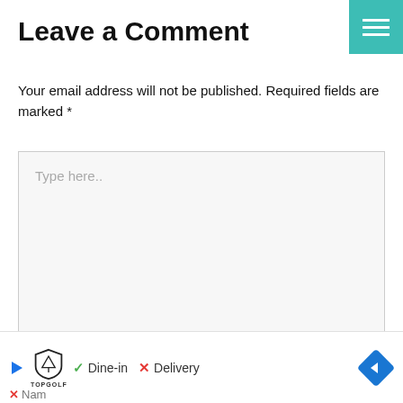Leave a Comment
Your email address will not be published. Required fields are marked *
[Figure (screenshot): Large light gray text input area with placeholder text 'Type here..' and a resize handle at bottom-right]
[Figure (infographic): Ad banner at bottom: blue play arrow icon, TopGolf shield logo, green checkmark 'Dine-in', red X 'Delivery', blue diamond navigation icon. Below: red X with partial 'Nam...' text.]